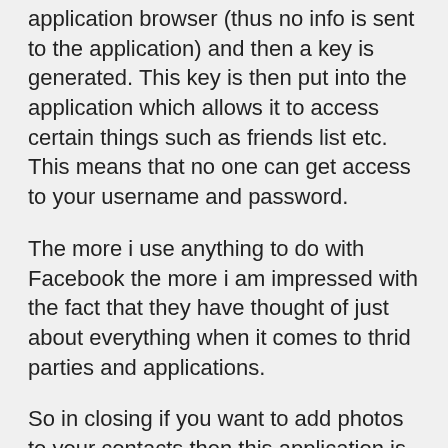application browser (thus no info is sent to the application) and then a key is generated. This key is then put into the application which allows it to access certain things such as friends list etc. This means that no one can get access to your username and password.
The more i use anything to do with Facebook the more i am impressed with the fact that they have thought of just about everything when it comes to thrid parties and applications.
So in closing if you want to add photos to your contacts then this application is cool. It may only get a small percentage of the user's pictures correct the first time but after you have added them all in it will remeber and update thier pictures when they update them on Facebook.
Update:
The developer of FriendSync contacted me a couple of days after writing this post asking for my feedback in finding